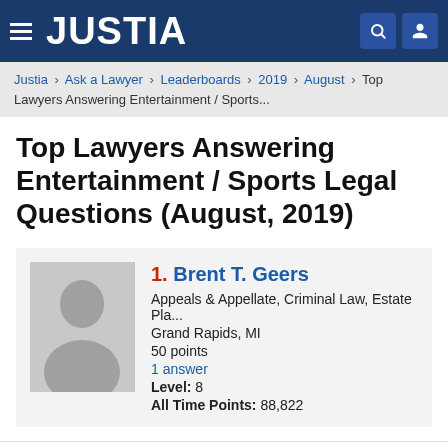JUSTIA
Justia › Ask a Lawyer › Leaderboards › 2019 › August › Top Lawyers Answering Entertainment / Sports...
Top Lawyers Answering Entertainment / Sports Legal Questions (August, 2019)
1. Brent T. Geers
Appeals & Appellate, Criminal Law, Estate Pla...
Grand Rapids, MI
50 points
1 answer
Level: 8
All Time Points: 88,822
Find Top Lawyers Answering...